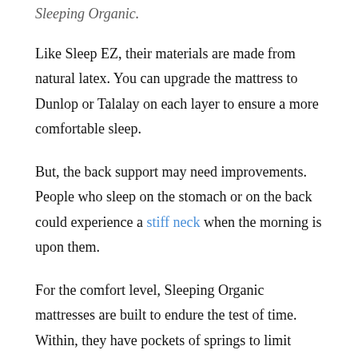Sleeping Organic.
Like Sleep EZ, their materials are made from natural latex. You can upgrade the mattress to Dunlop or Talalay on each layer to ensure a more comfortable sleep.
But, the back support may need improvements. People who sleep on the stomach or on the back could experience a stiff neck when the morning is upon them.
For the comfort level, Sleeping Organic mattresses are built to endure the test of time. Within, they have pockets of springs to limit motion transfer. When tossing and turning, you may have to find the ideal spot to rest. This isn't a problem with Sleep EZ as their mattresses will adjust to the body's movement. If you choose to invest in one, take into consideration how it could adapt over the duration of.
This pricing list is accessible in their official site.